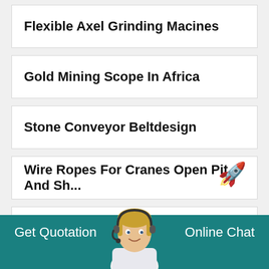Flexible Axel Grinding Macines
Gold Mining Scope In Africa
Stone Conveyor Beltdesign
Wire Ropes For Cranes Open Pit And Sh...
Crusher Price Lung Chen
Get Quotation   Online Chat